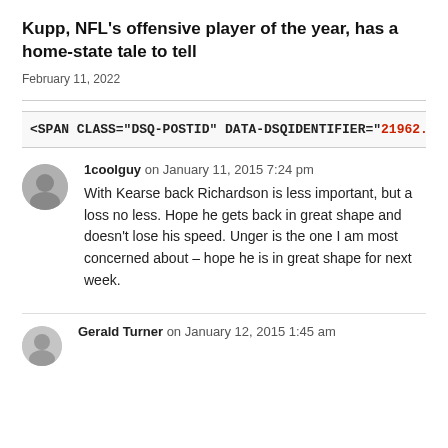Kupp, NFL's offensive player of the year, has a home-state tale to tell
February 11, 2022
<SPAN CLASS="DSQ-POSTID" DATA-DSQIDENTIFIER="21962...
1coolguy on January 11, 2015 7:24 pm
With Kearse back Richardson is less important, but a loss no less. Hope he gets back in great shape and doesn't lose his speed. Unger is the one I am most concerned about – hope he is in great shape for next week.
Gerald Turner on January 12, 2015 1:45 am